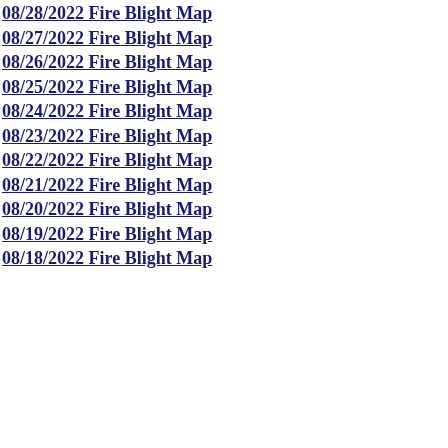08/28/2022 Fire Blight Map
08/27/2022 Fire Blight Map
08/26/2022 Fire Blight Map
08/25/2022 Fire Blight Map
08/24/2022 Fire Blight Map
08/23/2022 Fire Blight Map
08/22/2022 Fire Blight Map
08/21/2022 Fire Blight Map
08/20/2022 Fire Blight Map
08/19/2022 Fire Blight Map
08/18/2022 Fire Blight Map